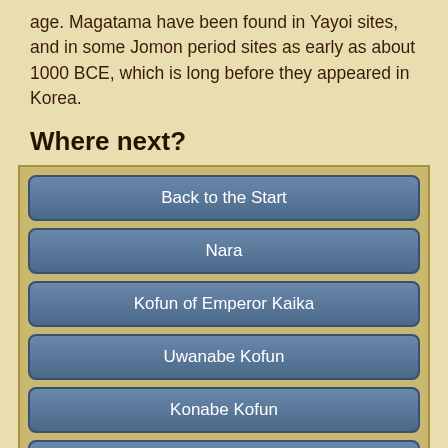age. Magatama have been found in Yayoi sites, and in some Jomon period sites as early as about 1000 BCE, which is long before they appeared in Korea.
Where next?
Back to the Start
Nara
Kofun of Emperor Kaika
Uwanabe Kofun
Konabe Kofun
Kofun of Empress Iwa-no-hime
Saki Gouran Kofun